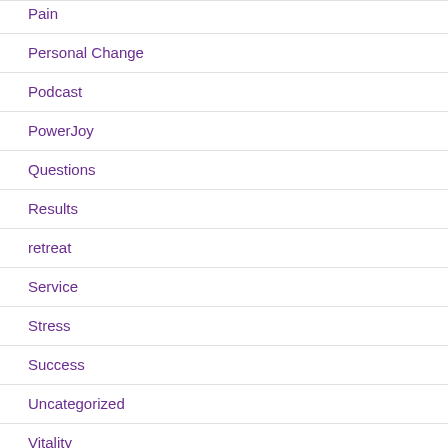Pain
Personal Change
Podcast
PowerJoy
Questions
Results
retreat
Service
Stress
Success
Uncategorized
Vitality